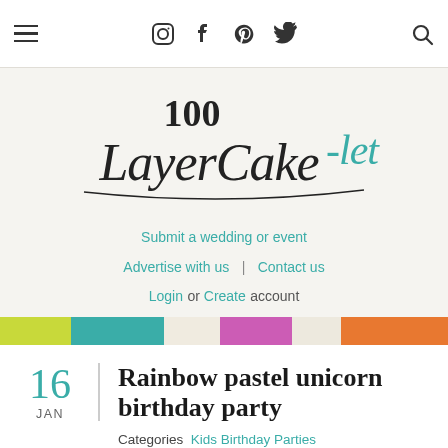100 Layer Cakelet – navigation bar with hamburger menu, social icons (Instagram, Facebook, Pinterest, Twitter), and search
[Figure (logo): 100 Layer Cake-let logo in script/handwritten font, teal and black]
Submit a wedding or event
Advertise with us  |  Contact us
Login or Create account
[Figure (infographic): Horizontal color bar with yellow-green, teal, cream, magenta, cream, and orange segments]
16
JAN
Rainbow pastel unicorn birthday party
Categories   Kids Birthday Parties